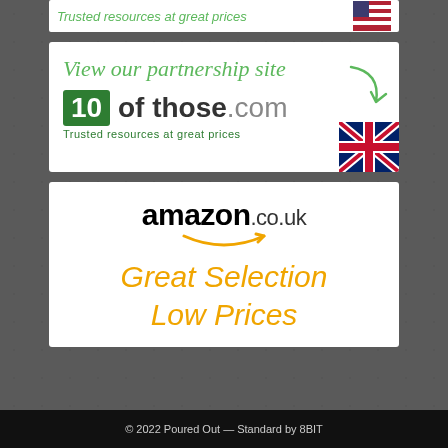[Figure (advertisement): Partially visible top advertisement banner (cropped at top of page) - appears to be 10ofthose.com US site with American flag]
[Figure (advertisement): 10ofthose.com partnership site advertisement banner. Green italic text 'View our partnership site' with curved arrow, green square logo with '10', bold text 'of those.com', tagline 'Trusted resources at great prices', UK flag in corner]
[Figure (advertisement): Amazon.co.uk advertisement banner. Amazon logo in bold black with smile arrow graphic, orange italic text 'Great Selection Low Prices']
© 2022 Poured Out — Standard by 8BIT